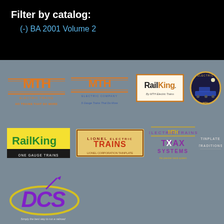Filter by catalog:
(-) BA 2001 Volume 2
[Figure (logo): MTH Electric Trains HO logo - orange text with stylized M, HO TRAINS THAT DO MORE]
[Figure (logo): MTH Electric Trains S Gauge logo - orange/blue, S Gauge Trains That Do More]
[Figure (logo): RailKing by MTH Electric Trains rectangular logo, orange border]
[Figure (logo): MTH Electric Trains circular badge with train illustration, night scene]
[Figure (logo): RailKing One Gauge Trains logo - green text on white/yellow background]
[Figure (logo): Lionel Electric Trains logo - red and orange text]
[Figure (logo): MTH Electric Trains TraX Systems logo - purple/yellow]
[Figure (logo): Tinplate Traditions logo - serif font]
[Figure (logo): DCS logo - purple stylized text with yellow swoosh, Simply the best way to run a railroad]